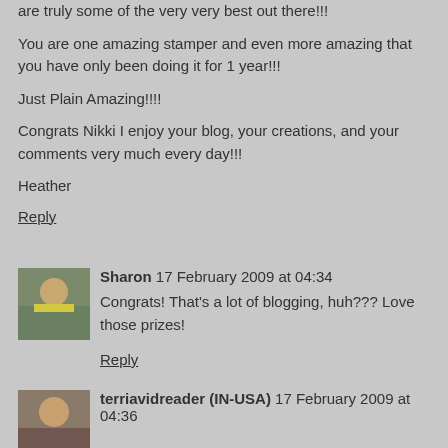are truly some of the very very best out there!!!
You are one amazing stamper and even more amazing that you have only been doing it for 1 year!!!
Just Plain Amazing!!!!
Congrats Nikki I enjoy your blog, your creations, and your comments very much every day!!!
Heather
Reply
Sharon 17 February 2009 at 04:34
Congrats! That's a lot of blogging, huh??? Love those prizes!
Reply
terriavidreader (IN-USA) 17 February 2009 at 04:36